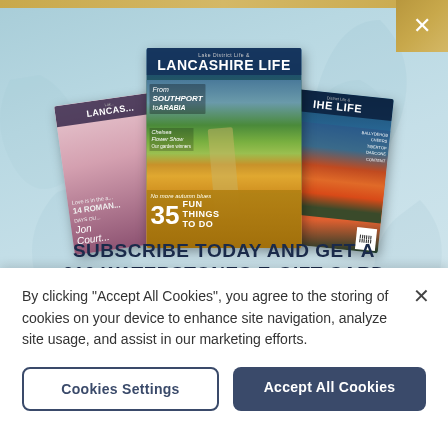[Figure (illustration): Three Lancashire Life magazine covers fanned out: left cover is pink/purple toned, center cover shows Lake District Life & Lancashire Life with autumn landscape and '35 Fun Things To Do', right cover shows District Life with autumn foliage. Background is light teal/blue with decorative leaf watermark. Gold top bar and X close button in top-right corner.]
SUBSCRIBE TODAY AND GET A £10 WATERSTONES E-GIFT CARD
By clicking "Accept All Cookies", you agree to the storing of cookies on your device to enhance site navigation, analyze site usage, and assist in our marketing efforts.
Cookies Settings
Accept All Cookies